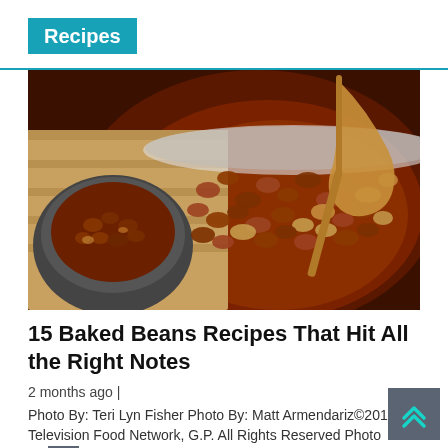Recipes
[Figure (photo): Overhead photo of baked beans in a large dark pot with a wooden spoon, and a smaller bowl of baked beans visible to the left]
15 Baked Beans Recipes That Hit All the Right Notes
2 months ago |
Photo By: Teri Lyn Fisher Photo By: Matt Armendariz©2014, Television Food Network, G.P. All Rights Reserved Photo By: Matt Photo...